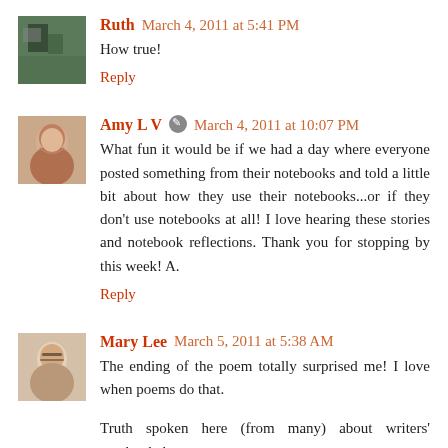Ruth  March 4, 2011 at 5:41 PM
How true!
Reply
Amy L V  March 4, 2011 at 10:07 PM
What fun it would be if we had a day where everyone posted something from their notebooks and told a little bit about how they use their notebooks...or if they don't use notebooks at all! I love hearing these stories and notebook reflections. Thank you for stopping by this week! A.
Reply
Mary Lee  March 5, 2011 at 5:38 AM
The ending of the poem totally surprised me! I love when poems do that.
Truth spoken here (from many) about writers' notebooks!